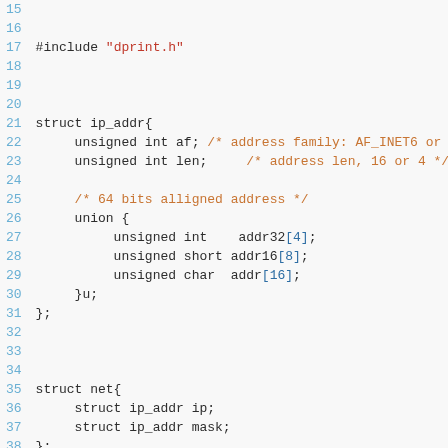[Figure (screenshot): Source code listing showing C struct definitions for ip_addr, net, and sockaddr_union, with syntax highlighting. Line numbers 15-43 visible. Lines 15-17 include #include "dprint.h". Lines 21-31 define struct ip_addr with unsigned int af, unsigned int len, and a union with addr32[4], addr16[8], addr[16]. Lines 35-38 define struct net with ip_addr ip and ip_addr mask. Lines 40-43 define union sockaddr_union with struct sockaddr s, struct sockaddr_in sin, and #ifdef USE_IPV6.]